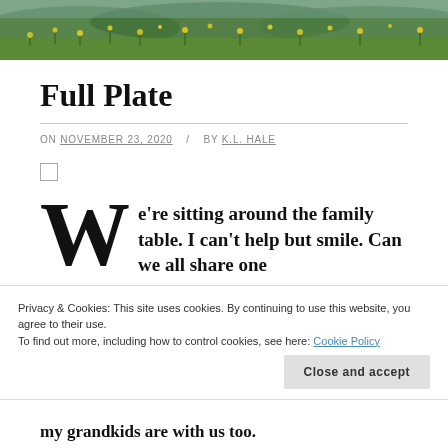[Figure (photo): Header photo of green field with yellow wildflowers and trees in background]
Full Plate
ON NOVEMBER 23, 2020 / BY K.L. HALE
[Figure (other): Small empty checkbox]
We're sitting around the family table. I can't help but smile. Can we all share one
Privacy & Cookies: This site uses cookies. By continuing to use this website, you agree to their use.
To find out more, including how to control cookies, see here: Cookie Policy
Close and accept
my grandkids are with us too.